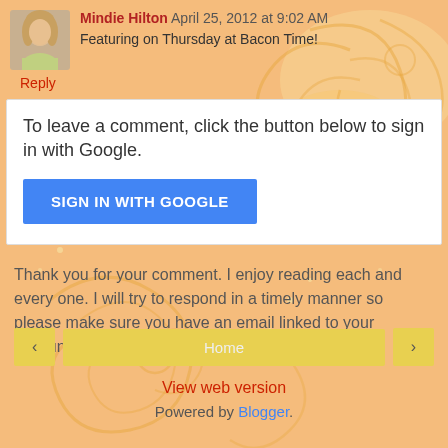Mindie Hilton  April 25, 2012 at 9:02 AM
Featuring on Thursday at Bacon Time!
Reply
To leave a comment, click the button below to sign in with Google.
SIGN IN WITH GOOGLE
Thank you for your comment. I enjoy reading each and every one. I will try to respond in a timely manner so please make sure you have an email linked to your account.
‹
Home
›
View web version
Powered by Blogger.